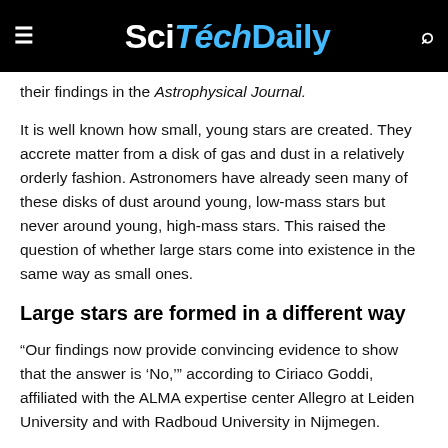SciTechDaily
their findings in the Astrophysical Journal.
It is well known how small, young stars are created. They accrete matter from a disk of gas and dust in a relatively orderly fashion. Astronomers have already seen many of these disks of dust around young, low-mass stars but never around young, high-mass stars. This raised the question of whether large stars come into existence in the same way as small ones.
Large stars are formed in a different way
“Our findings now provide convincing evidence to show that the answer is ‘No,’” according to Ciriaco Goddi, affiliated with the ALMA expertise center Allegro at Leiden University and with Radboud University in Nijmegen.
Goddi led a team that studied three young, high-mass